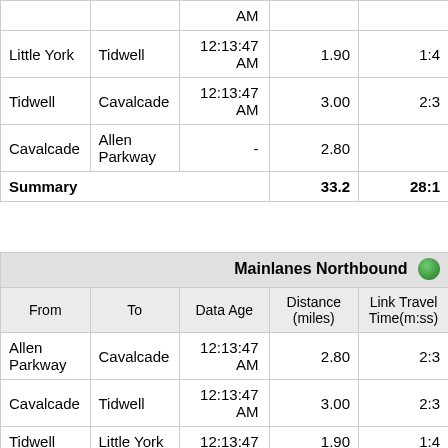| From | To | Data Age | Distance (miles) | Link Travel Time(m:ss) |
| --- | --- | --- | --- | --- |
|  |  | AM |  |  |
| Little York | Tidwell | 12:13:47 AM | 1.90 | 1:4… |
| Tidwell | Cavalcade | 12:13:47 AM | 3.00 | 2:3… |
| Cavalcade | Allen Parkway | - | 2.80 |  |
| Summary |  |  | 33.2 | 28:1… |
| From | To | Data Age | Distance (miles) | Link Travel Time(m:ss) |
| --- | --- | --- | --- | --- |
| Mainlanes Northbound |  |  |  |  |
| Allen Parkway | Cavalcade | 12:13:47 AM | 2.80 | 2:3… |
| Cavalcade | Tidwell | 12:13:47 AM | 3.00 | 2:3… |
| Tidwell | Little York | 12:13:47 | 1.90 | 1:4… |